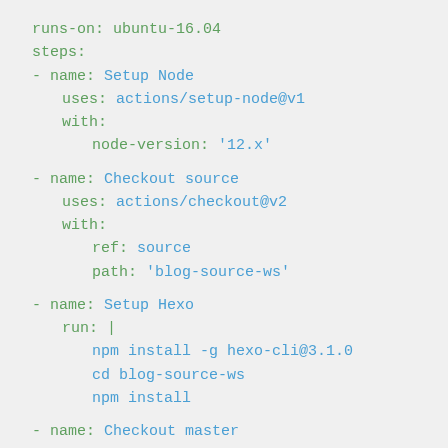runs-on: ubuntu-16.04
steps:
- name: Setup Node
  uses: actions/setup-node@v1
  with:
    node-version: '12.x'

- name: Checkout source
  uses: actions/checkout@v2
  with:
    ref: source
    path: 'blog-source-ws'

- name: Setup Hexo
  run: |
    npm install -g hexo-cli@3.1.0
    cd blog-source-ws
    npm install

- name: Checkout master